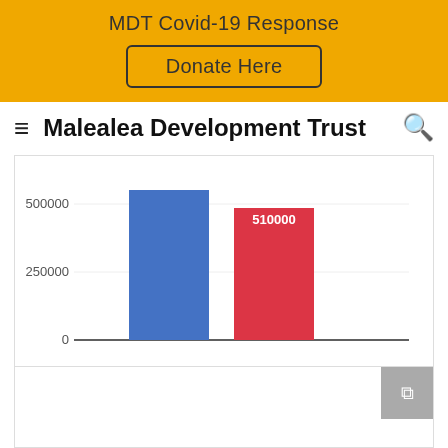MDT Covid-19 Response
Donate Here
Malealea Development Trust
[Figure (bar-chart): ]
[Figure (screenshot): Bottom card with external link icon]